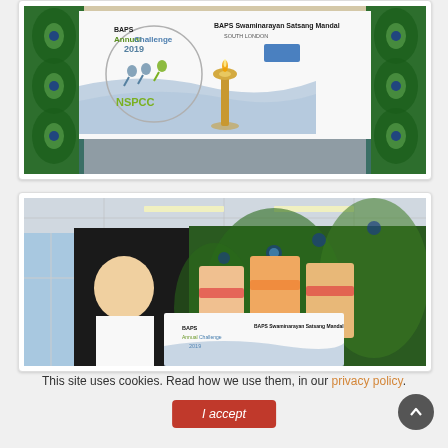[Figure (photo): Photo showing BAPS Annual Challenge 2019 NSPCC banner with a brass oil lamp (diya) in front, and peacock feather decorations on the sides. The banner reads: BAPS Annual Challenge 2019, BAPS Swaminarayan Satsang Mandal South London, NSPCC.]
[Figure (photo): Photo showing a young man in a white t-shirt standing in front of the BAPS Annual Challenge 2019 NSPCC banner, with a decorative backdrop of colorful peacock feathers and Hindu deity portraits.]
This site uses cookies. Read how we use them, in our privacy policy.